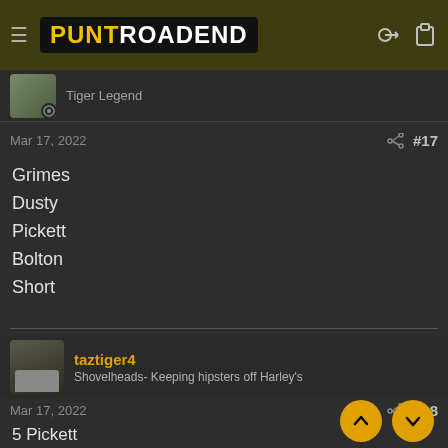PUNT ROAD END
Tiger Legend
Mar 17, 2022   #17
Grimes
Dusty
Pickett
Bolton
Short
taztiger4
Shovelheads- Keeping hipsters off Harley's
Mar 17, 2022   #18
5 Pickett
4 Bolton